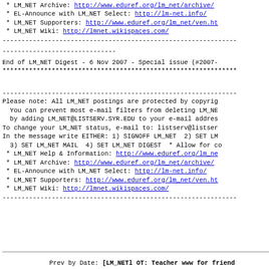* LM_NET Archive: http://www.eduref.org/lm_net/archive/
* EL-Announce with LM_NET Select: http://lm-net.info/
* LM_NET Supporters: http://www.eduref.org/lm_net/ven.ht
* LM_NET Wiki: http://lmnet.wikispaces.com/
-----------------------------------------------------------
------------------------------
End of LM_NET Digest - 6 Nov 2007 - Special issue (#2007-
***********************************************************
-----------------------------------------------------------
Please note: All LM_NET postings are protected by copyrig
You can prevent most e-mail filters from deleting LM_NE
by adding LM_NET@LISTSERV.SYR.EDU to your e-mail addres
To change your LM_NET status, e-mail to: listserv@listser
In the message write EITHER: 1) SIGNOFF LM_NET  2) SET LM
3) SET LM_NET MAIL  4) SET LM_NET DIGEST  * Allow for co
* LM_NET Help & Information: http://www.eduref.org/lm_ne
* LM_NET Archive: http://www.eduref.org/lm_net/archive/
* EL-Announce with LM_NET Select: http://lm-net.info/
* LM_NET Supporters: http://www.eduref.org/lm_net/ven.ht
* LM_NET Wiki: http://lmnet.wikispaces.com/
-----------------------------------------------------------
Prev by Date: [LM_NETl OT: Teacher www for friend